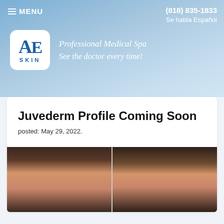MENU | (818) 835-1833 | Se habla Español
[Figure (logo): AE Skin logo — white rounded square with blue AE letters and SKIN text below]
Professional Medical Spa
See the doctor every time!
Juvederm Profile Coming Soon
posted: May 29, 2022.
[Figure (photo): Before and after side-by-side photos of a woman's forehead/brow area showing Juvederm treatment results]